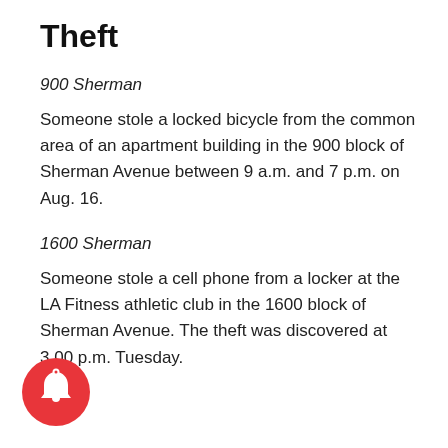Theft
900 Sherman
Someone stole a locked bicycle from the common area of an apartment building in the 900 block of Sherman Avenue between 9 a.m. and 7 p.m. on Aug. 16.
1600 Sherman
Someone stole a cell phone from a locker at the LA Fitness athletic club in the 1600 block of Sherman Avenue. The theft was discovered at 3.00 p.m. Tuesday.